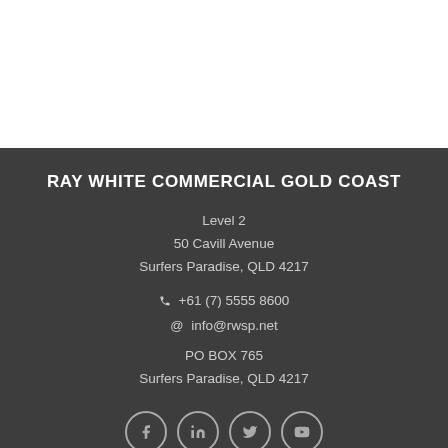RAY WHITE COMMERCIAL GOLD COAST
Level 2
50 Cavill Avenue
Surfers Paradise, QLD 4217
+61 (7) 5555 8600
info@rwsp.net
PO BOX 765
Surfers Paradise, QLD 4217
[Figure (illustration): Four social media icon circles for Facebook, LinkedIn, Twitter, and YouTube]